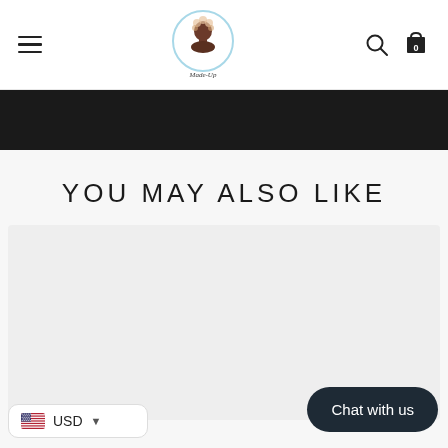[Figure (logo): Made-Up brand logo inside a light blue circle with illustrated figure]
Navigation header with hamburger menu, Made-Up logo, search icon, and cart with 0 items
YOU MAY ALSO LIKE
[Figure (photo): Empty product image card area]
USD
Chat with us